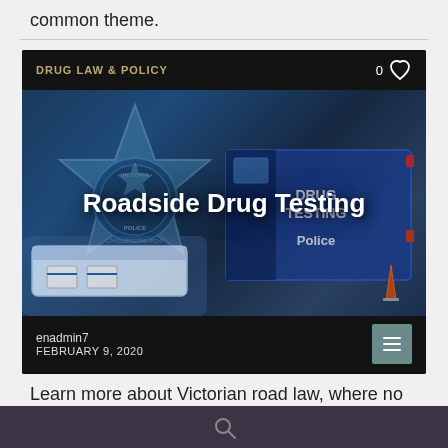common theme.
[Figure (photo): Article card showing a roadside drug testing scene with Victoria Police badge, a Drug Testing police van, a blue-gloved hand holding a drug test kit. Title overlay reads 'Roadside Drug Testing'. Category label 'DRUG LAW & POLICY' with a heart icon and 0 count. Author 'enadmin7', date 'FEBRUARY 9, 2020'.]
Learn more about Victorian road law, where no